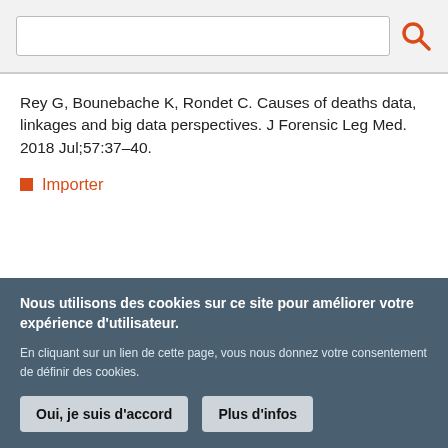[Figure (screenshot): Search bar with text input field and orange search icon button]
Rey G, Bounebache K, Rondet C. Causes of deaths data, linkages and big data perspectives. J Forensic Leg Med. 2018 Jul;57:37–40.
Importer
Nous utilisons des cookies sur ce site pour améliorer votre expérience d'utilisateur. En cliquant sur un lien de cette page, vous nous donnez votre consentement de définir des cookies. Oui, je suis d'accord  Plus d'infos